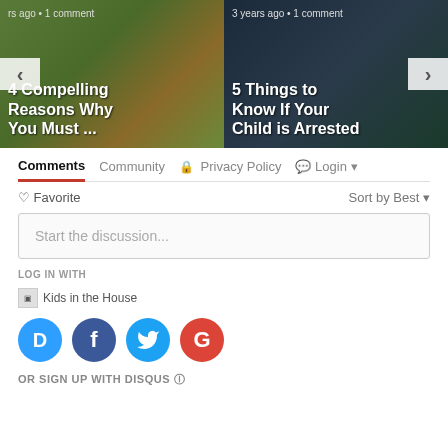[Figure (screenshot): Carousel image left: child on playground equipment with red ribbon, article titled '4 Compelling Reasons Why You Must ...' with navigation arrow left]
[Figure (screenshot): Carousel image right: young woman with dark hair, article titled '5 Things to Know If Your Child is Arrested', 3 years ago 1 comment, navigation arrow right]
Comments  Community  Privacy Policy  Login
Favorite  Sort by Best
Start the discussion...
LOG IN WITH
Kids in the House
[Figure (logo): Social login buttons: Disqus (D), Facebook (f), Twitter bird, Google (G)]
OR SIGN UP WITH DISQUS